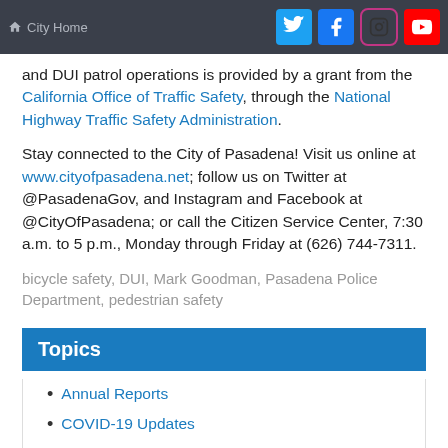City Home
and DUI patrol operations is provided by a grant from the California Office of Traffic Safety, through the National Highway Traffic Safety Administration.
Stay connected to the City of Pasadena! Visit us online at www.cityofpasadena.net; follow us on Twitter at @PasadenaGov, and Instagram and Facebook at @CityOfPasadena; or call the Citizen Service Center, 7:30 a.m. to 5 p.m., Monday through Friday at (626) 744-7311.
bicycle safety, DUI, Mark Goodman, Pasadena Police Department, pedestrian safety
Topics
Annual Reports
COVID-19 Updates